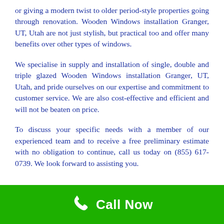or giving a modern twist to older period-style properties going through renovation. Wooden Windows installation Granger, UT, Utah are not just stylish, but practical too and offer many benefits over other types of windows.
We specialise in supply and installation of single, double and triple glazed Wooden Windows installation Granger, UT, Utah, and pride ourselves on our expertise and commitment to customer service. We are also cost-effective and efficient and will not be beaten on price.
To discuss your specific needs with a member of our experienced team and to receive a free preliminary estimate with no obligation to continue, call us today on (855) 617-0739. We look forward to assisting you.
[Figure (other): Green call-to-action footer bar with a white phone icon and 'Call Now' text in white]